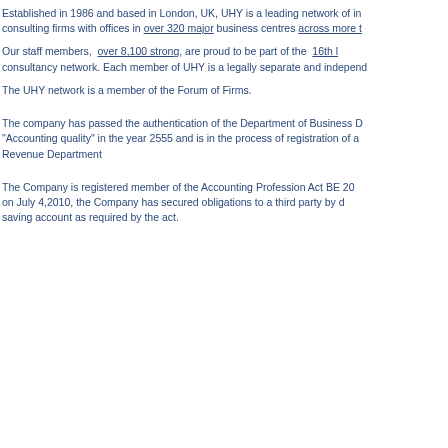Established in 1986 and based in London, UK, UHY is a leading network of independent accounting and consulting firms with offices in over 320 major business centres across more than 95 countries.
Our staff members, over 8,100 strong, are proud to be part of the 16th largest international accounting and consultancy network. Each member of UHY is a legally separate and independent firm.
The UHY network is a member of the Forum of Firms.
The company has passed the authentication of the Department of Business Development on "Accounting quality" in the year 2555 and is in the process of registration of a certified auditor with the Revenue Department
The Company is registered member of the Accounting Profession Act BE 2547 (2004). Since on July 4,2010, the Company has secured obligations to a third party by depositing money in a saving account as required by the act.